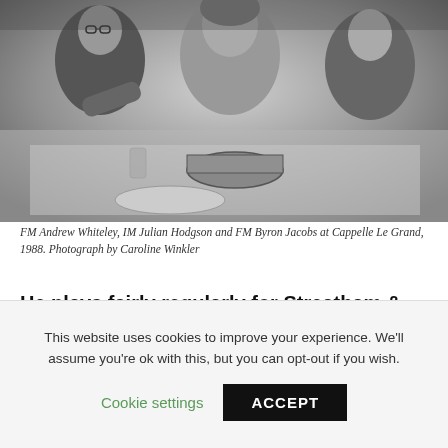[Figure (photo): Black and white photograph of three people seated at a dining table with plates, glasses, a bowl, and a wine bottle. They appear to be at a meal or social gathering.]
FM Andrew Whiteley, IM Julian Hodgson and FM Byron Jacobs at Cappelle Le Grand, 1988. Photograph by Caroline Winkler
He plays fairly regularly for Streatham & Brixton Chess Club which encouraged juniors for several years. Daniel King is
This website uses cookies to improve your experience. We'll assume you're ok with this, but you can opt-out if you wish. Cookie settings ACCEPT